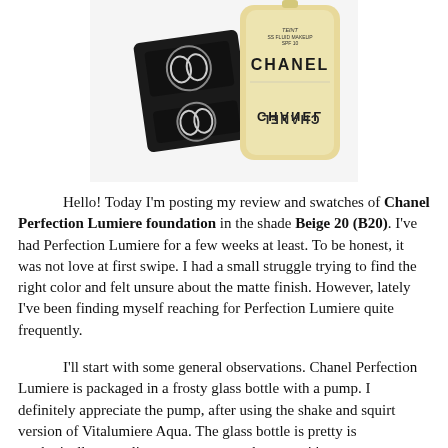[Figure (photo): Photo of Chanel Perfection Lumiere foundation products: a black square bottle with the Chanel CC logo and a beige/cream cylindrical bottle labeled CHANEL, with SPF 10 Weightless Fluid Makeup text visible. The cylindrical bottle is reflected showing the label upside down.]
Hello! Today I'm posting my review and swatches of Chanel Perfection Lumiere foundation in the shade Beige 20 (B20). I've had Perfection Lumiere for a few weeks at least. To be honest, it was not love at first swipe. I had a small struggle trying to find the right color and felt unsure about the matte finish. However, lately I've been finding myself reaching for Perfection Lumiere quite frequently.
I'll start with some general observations. Chanel Perfection Lumiere is packaged in a frosty glass bottle with a pump. I definitely appreciate the pump, after using the shake and squirt version of Vitalumiere Aqua. The glass bottle is pretty is aesthetically appealing on my counter, however it's